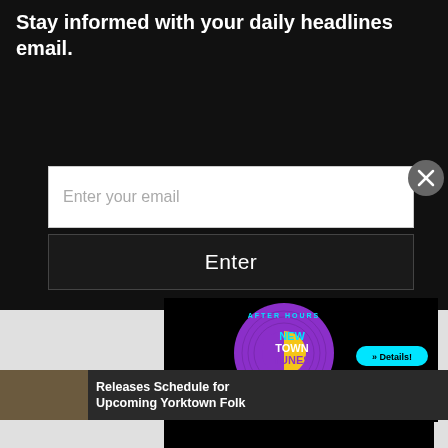Stay informed with your daily headlines email.
[Figure (screenshot): Email input field with placeholder text 'Enter your email']
[Figure (screenshot): Black Enter button]
Releases Schedule for Upcoming Yorktown Folk
[Figure (advertisement): After Hours New Town Tunes Concert Series advertisement with James City County, New Town, and culturefix logos on black background]
[Figure (advertisement): Now Offering Online Ordering, Curbside Takeout advertisement - partially visible at bottom]